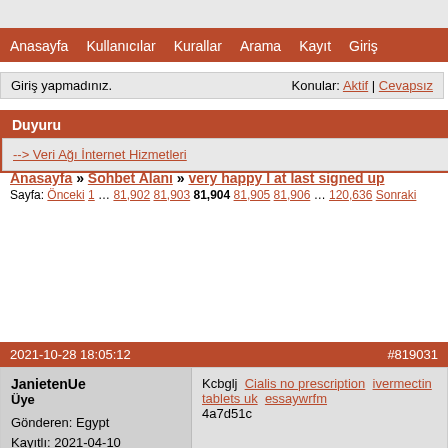Anasayfa  Kullanıcılar  Kurallar  Arama  Kayıt  Giriş
Giriş yapmadınız.   Konular: Aktif | Cevapsız
Duyuru
--> Veri Ağı İnternet Hizmetleri
Anasayfa » Sohbet Alanı » very happy I at last signed up
Sayfa: Önceki 1 … 81,902 81,903 81,904 81,905 81,906 … 120,636 Sonraki
2021-10-28 18:05:12   #819031
JanietenUe
Üye
Gönderen: Egypt
Kayıtlı: 2021-04-10
Mesajlar: 196,599
Çevrimiçi
Kcbglj  Cialis no prescription  ivermectin tablets uk  essaywrfm
4a7d51c